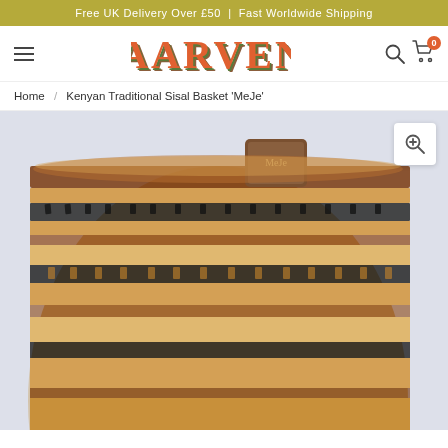Free UK Delivery Over £50 | Fast Worldwide Shipping
[Figure (logo): AARVEN brand logo in decorative retro 3D lettering with orange, green, and shadow colors]
Home / Kenyan Traditional Sisal Basket 'MeJe'
[Figure (photo): Kenyan traditional sisal basket named MeJe, woven with natural, brown, and black stripe pattern, photographed from above at slight angle showing open top and leather label tag, on light blue-grey background]